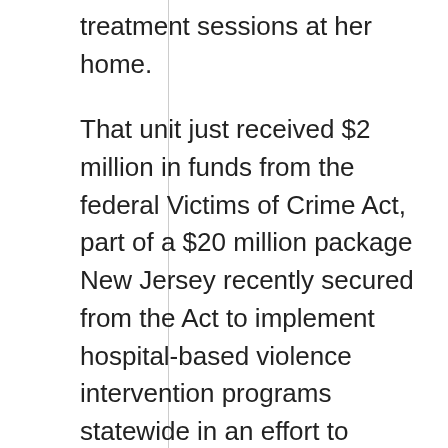treatment sessions at her home.
That unit just received $2 million in funds from the federal Victims of Crime Act, part of a $20 million package New Jersey recently secured from the Act to implement hospital-based violence intervention programs statewide in an effort to counter violent crime.
As defined by the FBI's Uniform Crime Reporting Program, violent crime is categorized as offenses involving force or threat or force, including murder and nonnegligent manslaughter, forcible rape, robbery and